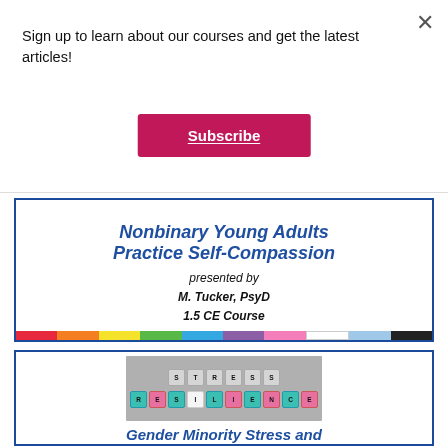Sign up to learn about our courses and get the latest articles!
Subscribe
[Figure (illustration): Course advertisement card: Nonbinary Young Adults Practice Self-Compassion, presented by M. Tucker, PsyD, 1.5 CE Course, with rainbow bar at bottom]
[Figure (illustration): Course advertisement card with photo of letter tiles spelling STRESS and RESILIENCE, titled Gender Minority Stress and...]